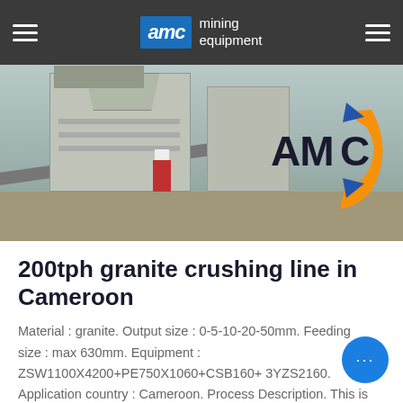AMC mining equipment
[Figure (photo): Aerial/overhead view of a granite crushing plant facility showing conveyors, hoppers, industrial buildings, and AMC logo overlay]
200tph granite crushing line in Cameroon
Material : granite. Output size : 0-5-10-20-50mm. Feeding size : max 630mm. Equipment : ZSW1100X4200+PE750X1060+CSB160+ 3YZS2160. Application country : Cameroon. Process Description. This is a 2 stage crushing process for hard granite, the primary jaw crusher, secondary cone crusher and the vibrating screen.